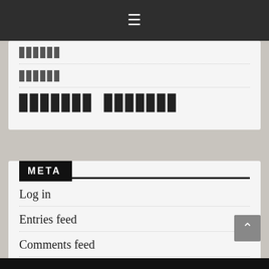≡
▉▉▉▉▉▉
▉▉▉▉▉▉
▉▉▉▉▉▉▉ ▉▉▉▉▉▉▉
META
Log in
Entries feed
Comments feed
WordPress.org
^